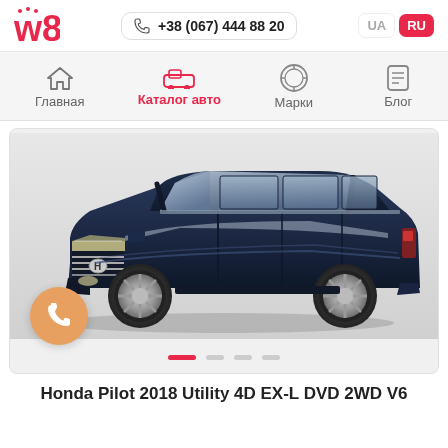w8 | +38 (067) 444 88 20 | UA | RU
[Figure (screenshot): Navigation bar with icons: Главная (home icon), Каталог авто (car icon, active/red), Марки (VW logo icon), Блог (document icon)]
[Figure (photo): Honda Pilot 2018 Utility 4D EX-L DVD 2WD V6 - dark navy blue SUV, front 3/4 view on white/light grey background. An orange phone call button is overlaid bottom-left.]
Honda Pilot 2018 Utility 4D EX-L DVD 2WD V6